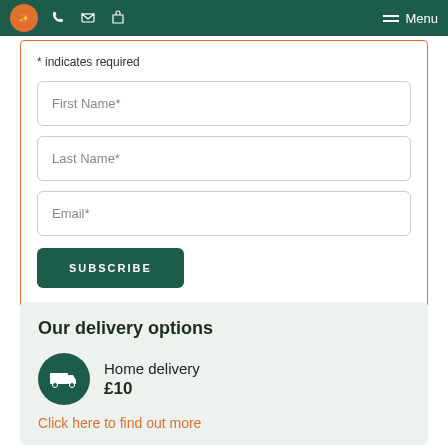Menu
* indicates required
First Name*
Last Name*
Email*
SUBSCRIBE
Our delivery options
Home delivery £10
Click here to find out more